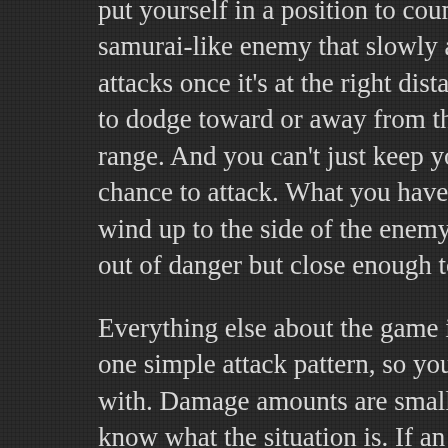put yourself in a position to counterattack. For exam samurai-like enemy that slowly approaches you and attacks once it's at the right distance. You'll probably to dodge toward or away from the attack, since it's fa range. And you can't just keep your distance, or you' chance to attack. What you have to do is dodge prec wind up to the side of the enemy after it attacks, whi out of danger but close enough to follow up with yo
Everything else about the game is equally focused. E one simple attack pattern, so you always know what with. Damage amounts are small and clearly display know what the situation is. If an enemy has 3 HP, you it with one combo; if it has 4, you need to be prepare hitting it. If you've got an enemy down to 1 HP, you kr option of finishing it off with a gun attack and not hav about it anymore. Similarly, enemy attacks deal eithe damage to you, so you always know what you can su